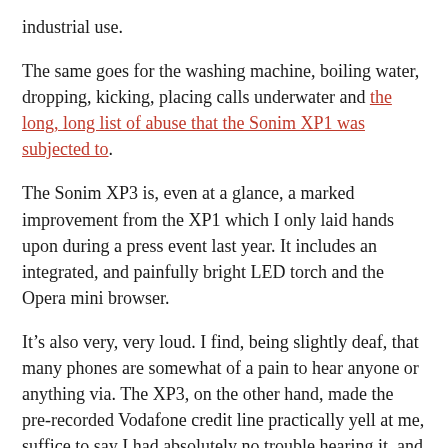industrial use.
The same goes for the washing machine, boiling water, dropping, kicking, placing calls underwater and the long, long list of abuse that the Sonim XP1 was subjected to.
The Sonim XP3 is, even at a glance, a marked improvement from the XP1 which I only laid hands upon during a press event last year. It includes an integrated, and painfully bright LED torch and the Opera mini browser.
It’s also very, very loud. I find, being slightly deaf, that many phones are somewhat of a pain to hear anyone or anything via. The XP3, on the other hand, made the pre-recorded Vodafone credit line practically yell at me, suffice to say I had absolutely no trouble hearing it, and that’s without even turning on speaker phone which is definitely loud and punchy for a phone.
It’s pretty clear that the Sonim XP3 was built after having established a confidence in the dos and don’ts of building a rugged phone, this has allowed Sonim to flesh out the feature set and